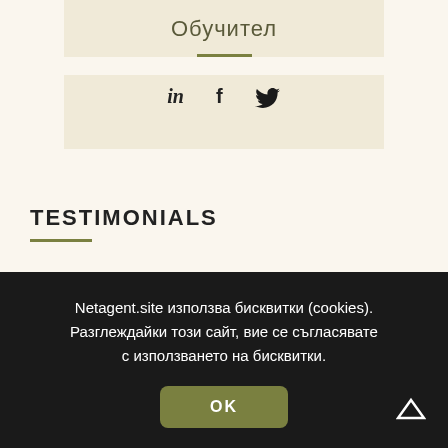Обучител
[Figure (infographic): Social media icons: LinkedIn, Facebook, Twitter]
TESTIMONIALS
[Figure (photo): Circular avatar photo of a person with short blonde hair]
"Lorem ipsum dolor sit
Netagent.site използва бисквитки (cookies). Разглеждайки този сайт, вие се съгласявате с използването на бисквитки.
OK